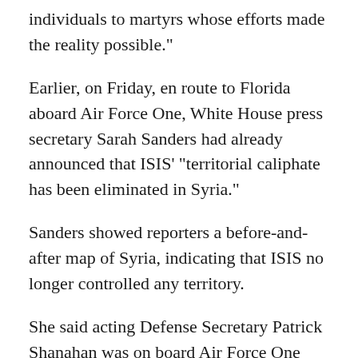individuals to martyrs whose efforts made the reality possible."
Earlier, on Friday, en route to Florida aboard Air Force One, White House press secretary Sarah Sanders had already announced that ISIS' "territorial caliphate has been eliminated in Syria."
Sanders showed reporters a before-and-after map of Syria, indicating that ISIS no longer controlled any territory.
She said acting Defense Secretary Patrick Shanahan was on board Air Force One and briefed President Trump on the way. Sanders told reporters further information would be provided by the Pentagon.
However, a Pentagon official told NPR Pentagon